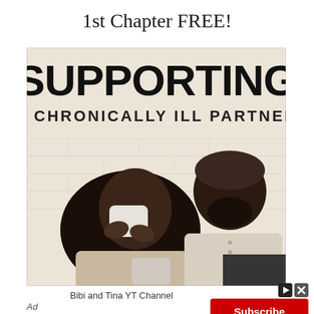1st Chapter FREE!
[Figure (illustration): Book cover for 'Supporting a Chronically Ill Partner' by Bibi and Tina YT Channel. Shows a Black woman blowing her nose with a tissue while a Black man looks at her with concern, sitting against a white brick wall background. The book title 'SUPPORTING' is in large bold text, with 'A CHRONICALLY ILL PARTNER' below in spaced capital letters.]
Bibi and Tina YT Channel
Ad